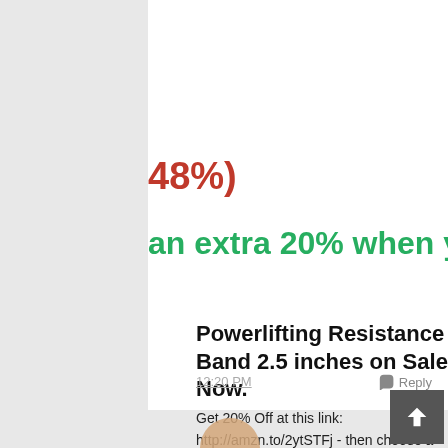48%)
an extra 20% when you app
Powerlifting Resistance Band 2.5 inches on Sale Now.
Get 20% Off at this link: http://amzn.to/2ytSTFj - then choose a blue color for 2.5 inches size band, and you'll get
12:20 PM   Reply